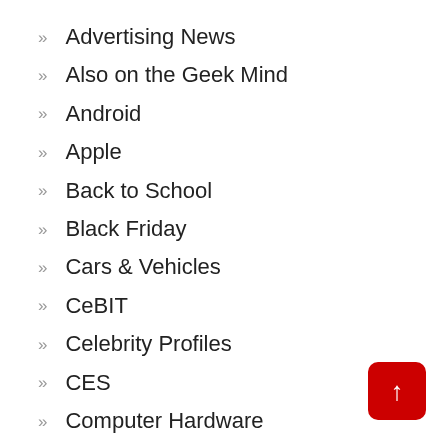Advertising News
Also on the Geek Mind
Android
Apple
Back to School
Black Friday
Cars & Vehicles
CeBIT
Celebrity Profiles
CES
Computer Hardware
Cyber Monday